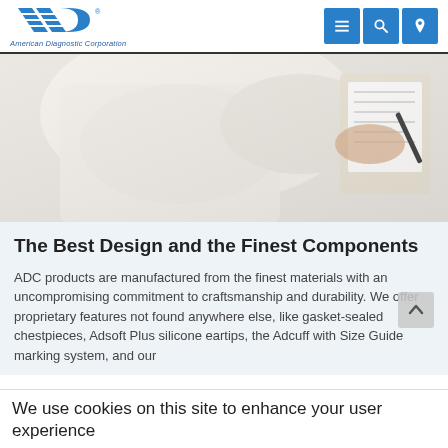[Figure (logo): ADC American Diagnostic Corporation logo with navigation buttons (menu, search, location)]
[Figure (photo): Close-up photo of a person in a white coat writing on a clipboard, appearing to be a healthcare professional filling out a medical form]
The Best Design and the Finest Components
ADC products are manufactured from the finest materials with an uncompromising commitment to craftsmanship and durability. We offer proprietary features not found anywhere else, like gasket-sealed chestpieces, Adsoft Plus silicone eartips, the Adcuff with Size Guide marking system, and our...
We use cookies on this site to enhance your user experience